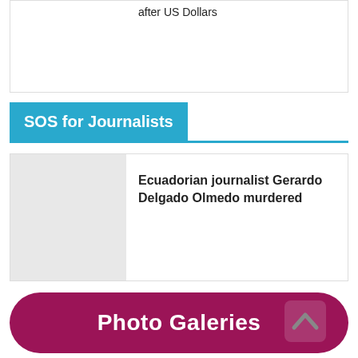after US Dollars
SOS for Journalists
Ecuadorian journalist Gerardo Delgado Olmedo murdered
Photo Galeries